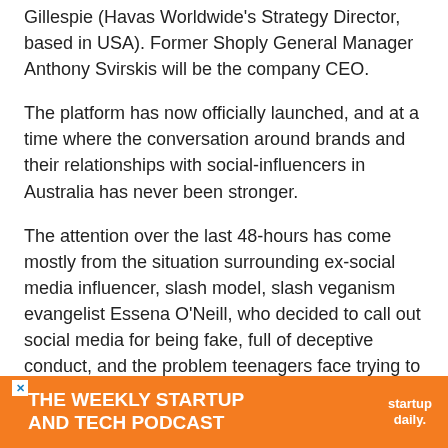Gillespie (Havas Worldwide's Strategy Director, based in USA). Former Shoply General Manager Anthony Svirskis will be the company CEO.
The platform has now officially launched, and at a time where the conversation around brands and their relationships with social-influencers in Australia has never been stronger.
The attention over the last 48-hours has come mostly from the situation surrounding ex-social media influencer, slash model, slash veganism evangelist Essena O'Neill, who decided to call out social media for being fake, full of deceptive conduct, and the problem teenagers face trying to feed their need for validation online.
I get the argument and support the cause at a grass roots level, b… atform – be it F… or the
[Figure (other): Advertisement banner: THE WEEKLY STARTUP AND TECH PODCAST with startup daily. logo and close button]